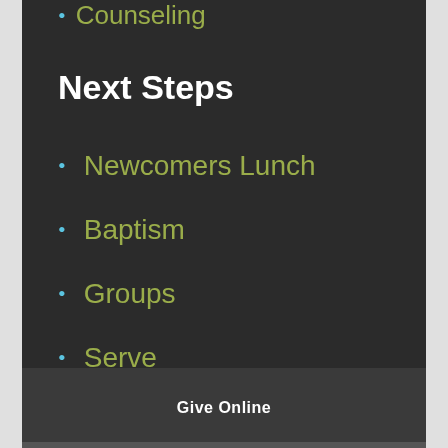Counseling
Next Steps
Newcomers Lunch
Baptism
Groups
Serve
Give Online